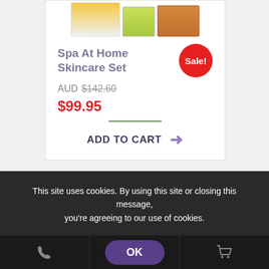[Figure (photo): Product images showing skincare set items: white jar with yellow lid, green bottle, orange jar]
Spa At Home Skincare Set
Sale!
AUD $142.60
$99.95
ADD TO CART
This site uses cookies. By using this site or closing this message, you're agreeing to our use of cookies.
OK